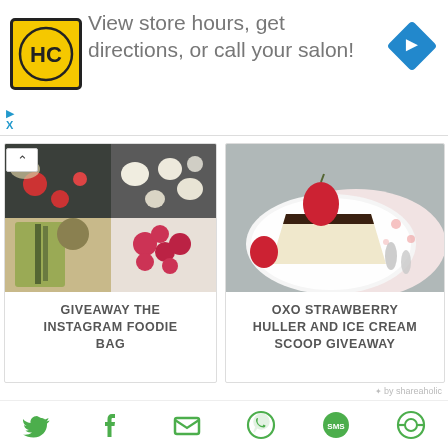[Figure (screenshot): Advertisement banner: HC logo (yellow square with HC letters), text 'View store hours, get directions, or call your salon!', blue diamond arrow icon on right]
[Figure (photo): Card 1: GIVEAWAY THE INSTAGRAM FOODIE BAG - collage of food photos (strawberries, herbs, raspberries, white round items)]
[Figure (photo): Card 2: OXO STRAWBERRY HULLER AND ICE CREAM SCOOP GIVEAWAY - cheesecake slice with strawberry on white plate]
GIVEAWAY THE INSTAGRAM FOODIE BAG
OXO STRAWBERRY HULLER AND ICE CREAM SCOOP GIVEAWAY
✦ by shareaholic
246 comments:
[Figure (infographic): Social share icons row: Twitter bird, Facebook f, envelope/email, WhatsApp, SMS bubble, another share icon — all in green]